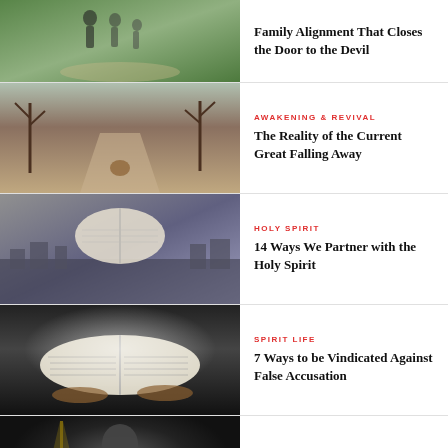[Figure (photo): Family walking together on a path]
Family Alignment That Closes the Door to the Devil
[Figure (photo): Person walking on a path with autumn leaves]
AWAKENING & REVIVAL
The Reality of the Current Great Falling Away
[Figure (photo): Open Bible held up with a cityscape in background]
HOLY SPIRIT
14 Ways We Partner with the Holy Spirit
[Figure (photo): Open Bible on a dark background with light]
SPIRIT LIFE
7 Ways to be Vindicated Against False Accusation
[Figure (photo): Man speaking at a podium or microphone]
SPIRIT LIFE
8 Keys to Overcome Christian Depression